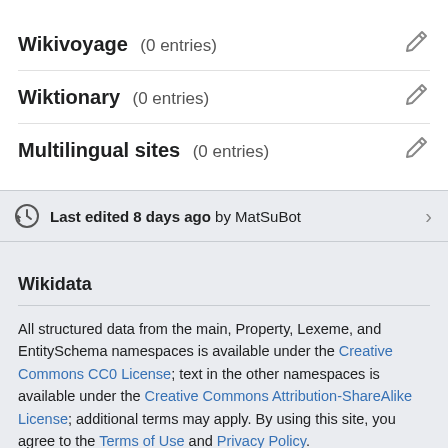Wikivoyage (0 entries)
Wiktionary (0 entries)
Multilingual sites (0 entries)
Last edited 8 days ago by MatSuBot
Wikidata
All structured data from the main, Property, Lexeme, and EntitySchema namespaces is available under the Creative Commons CC0 License; text in the other namespaces is available under the Creative Commons Attribution-ShareAlike License; additional terms may apply. By using this site, you agree to the Terms of Use and Privacy Policy.
Terms of Use • Privacy policy • Desktop